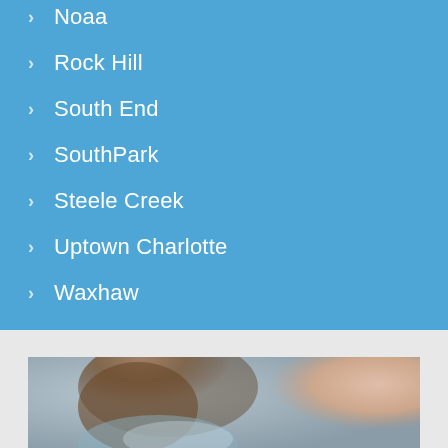Noaa
Rock Hill
South End
SouthPark
Steele Creek
Uptown Charlotte
Waxhaw
Weddington
[Figure (photo): Person with hair visible, holding something, blurred background with warm tones]